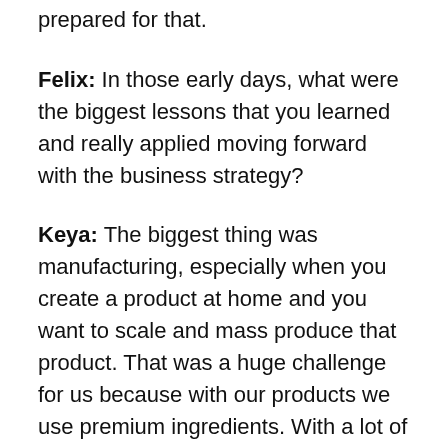prepared for that.
Felix: In those early days, what were the biggest lessons that you learned and really applied moving forward with the business strategy?
Keya: The biggest thing was manufacturing, especially when you create a product at home and you want to scale and mass produce that product. That was a huge challenge for us because with our products we use premium ingredients. With a lot of these ingredients, it's very difficult to find a manufacturer who wants to use your exact same formula. It took us a